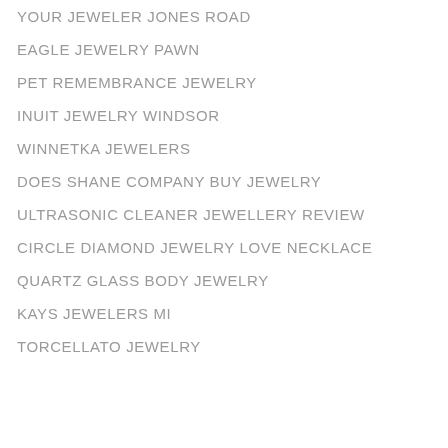YOUR JEWELER JONES ROAD
EAGLE JEWELRY PAWN
PET REMEMBRANCE JEWELRY
INUIT JEWELRY WINDSOR
WINNETKA JEWELERS
DOES SHANE COMPANY BUY JEWELRY
ULTRASONIC CLEANER JEWELLERY REVIEW
CIRCLE DIAMOND JEWELRY LOVE NECKLACE
QUARTZ GLASS BODY JEWELRY
KAYS JEWELERS MI
TORCELLATO JEWELRY